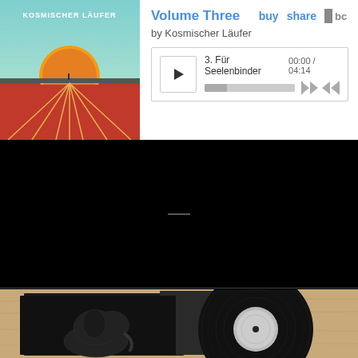[Figure (screenshot): Bandcamp music player widget showing 'Volume Three' by Kosmischer Läufer. Album art on left showing retro running track with sun. Player controls on right with track 3 'Für Seelenbinder' at 00:00 / 04:14, play button, progress bar, and navigation buttons. Buy, share, and Bandcamp logo links visible.]
[Figure (photo): Photo of vinyl record partially pulled out of a black sleeve/jacket. The record sleeve shows an illustration of an elephant. The vinyl record itself is black with a grey/white center label. Background appears to be a light wooden surface.]